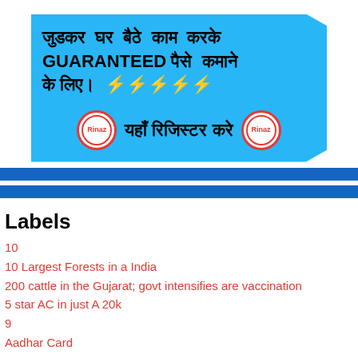[Figure (infographic): Blue banner advertisement in Hindi and English. Text reads: जुडकर घर बैठे काम करके GUARANTEED पैसे कमाने के लिए। with lightning bolt emojis. Below: यहाँ रिजिस्टर करे with two circular logo icons on either side.]
Labels
10
10 Largest Forests in a India
200 cattle in the Gujarat; govt intensifies are vaccination
5 star AC in just A 20k
9
Aadhar Card
ANDROID APPS